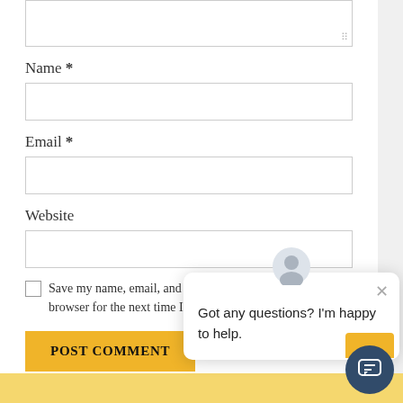[Figure (screenshot): Top portion of a comment form textarea (partially visible, cut off at top)]
Name *
[Figure (screenshot): Empty text input field for Name]
Email *
[Figure (screenshot): Empty text input field for Email]
Website
[Figure (screenshot): Empty text input field for Website]
Save my name, email, and website in this browser for the next time I comment.
[Figure (screenshot): POST COMMENT yellow button]
[Figure (screenshot): Chat widget popup with message: Got any questions? I'm happy to help.]